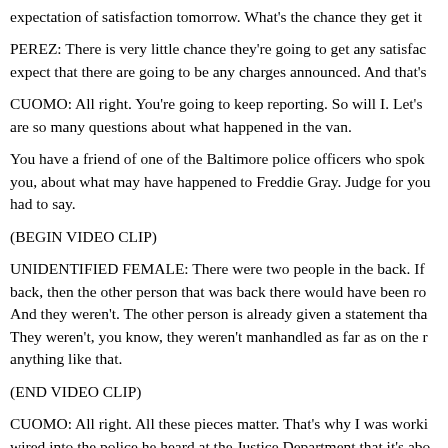expectation of satisfaction tomorrow. What's the chance they get it
PEREZ: There is very little chance they're going to get any satisfac expect that there are going to be any charges announced. And that's
CUOMO: All right. You're going to keep reporting. So will I. Let's are so many questions about what happened in the van.
You have a friend of one of the Baltimore police officers who spok you, about what may have happened to Freddie Gray. Judge for you had to say.
(BEGIN VIDEO CLIP)
UNIDENTIFIED FEMALE: There were two people in the back. If back, then the other person that was back there would have been ro And they weren't. The other person is already given a statement tha They weren't, you know, they weren't manhandled as far as on the r anything like that.
(END VIDEO CLIP)
CUOMO: All right. All these pieces matter. That's why I was worki wired into the police he heard at the Justice Department that it's abo what isn't.